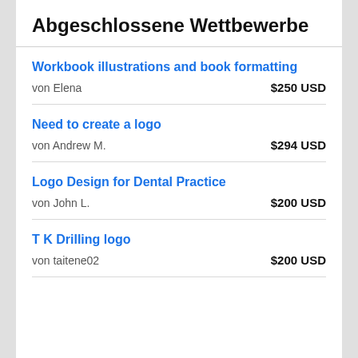Abgeschlossene Wettbewerbe
Workbook illustrations and book formatting
von Elena
$250 USD
Need to create a logo
von Andrew M.
$294 USD
Logo Design for Dental Practice
von John L.
$200 USD
T K Drilling logo
von taitene02
$200 USD